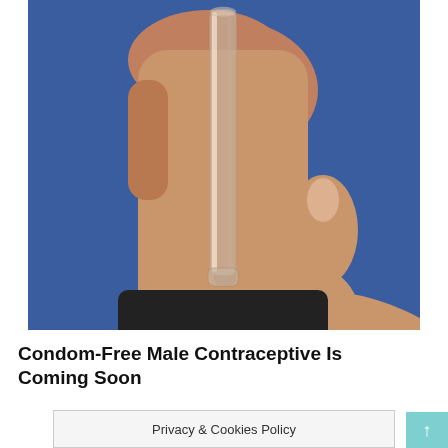[Figure (photo): A hand holding a clear cylindrical tube (condom-free male contraceptive device) against a blue background. The tube is transparent and elongated, held between thumb and fingers.]
Condom-Free Male Contraceptive Is Coming Soon
Privacy & Cookies Policy